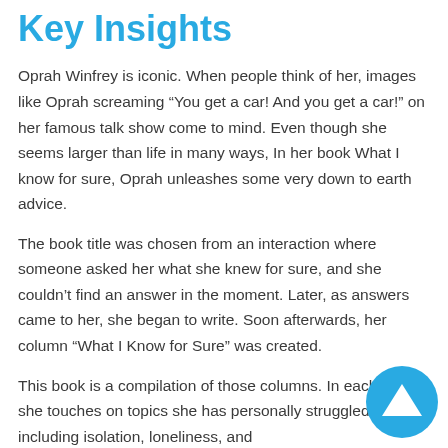Key Insights
Oprah Winfrey is iconic. When people think of her, images like Oprah screaming “You get a car! And you get a car!” on her famous talk show come to mind. Even though she seems larger than life in many ways, In her book What I know for sure, Oprah unleashes some very down to earth advice.
The book title was chosen from an interaction where someone asked her what she knew for sure, and she couldn’t find an answer in the moment. Later, as answers came to her, she began to write. Soon afterwards, her column “What I Know for Sure” was created.
This book is a compilation of those columns. In each essay, she touches on topics she has personally struggled with, including isolation, loneliness, and